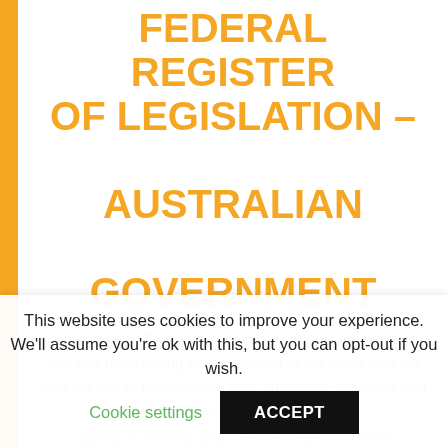FEDERAL REGISTER OF LEGISLATION – AUSTRALIAN GOVERNMENT
It turns out that Thai is the podiumunsten player in the city, and has been dating all five women at the same time up until the day of his wedding. Now customize the name of a clipboard to store your clips.
Clipping is a handy way to collect important slides
This website uses cookies to improve your experience. We'll assume you're ok with this, but you can opt-out if you wish.
Cookie settings
ACCEPT